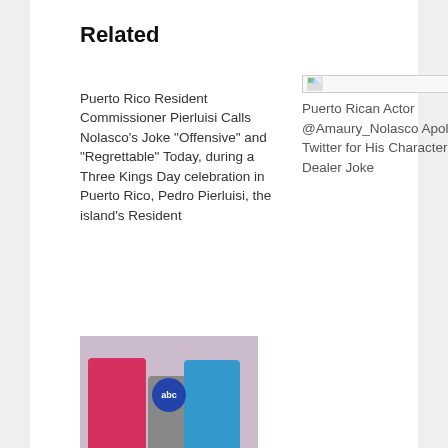Related
Puerto Rico Resident Commissioner Pierluisi Calls Nolasco's Joke “Offensive” and “Regrettable” Today, during a Three Kings Day celebration in Puerto Rico, Pedro Pierluisi, the island's Resident
[Figure (photo): Broken/missing image placeholder icon]
Puerto Rican Actor @Amaury_Nolasco Apologizes on Twitter for His Character's Drug Dealer Joke
[Figure (photo): Two women seen from behind, one in pink top and one in blue top, with an ABC logo sign between them]